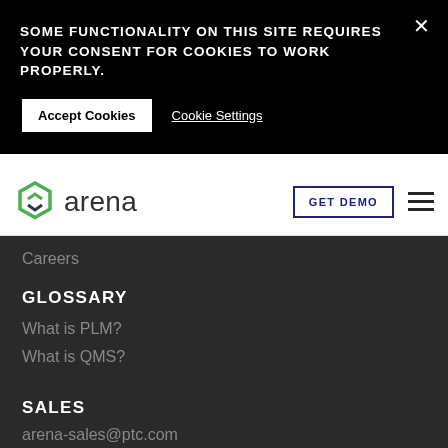SOME FUNCTIONALITY ON THIS SITE REQUIRES YOUR CONSENT FOR COOKIES TO WORK PROPERLY.
Accept Cookies
Cookie Settings
[Figure (logo): Arena logo with green hexagon icon and 'arena' wordmark in dark gray]
GET DEMO
Careers
GLOSSARY
What is PLM?
What is QMS?
SALES
arena-sales@ptc.com